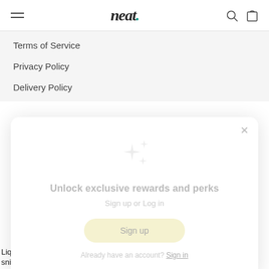neat.
Terms of Service
Privacy Policy
Delivery Policy
[Figure (screenshot): Modal popup with sparkle icons, 'Unlock exclusive rewards and perks' heading, 'Sign up or Log in' subtext, a 'Sign up' button, and 'Already have an account? Sign in' footer link]
Liq
snippets/spurit_occ2_theme_snippet.liquid